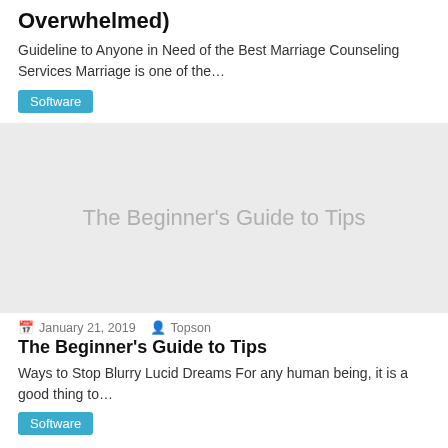Overwhelmed)
Guideline to Anyone in Need of the Best Marriage Counseling Services Marriage is one of the…
Software
[Figure (illustration): Gray placeholder image with centered text 'The Beginner's Guide to Tips']
January 21, 2019   Topson
The Beginner's Guide to Tips
Ways to Stop Blurry Lucid Dreams For any human being, it is a good thing to…
Software